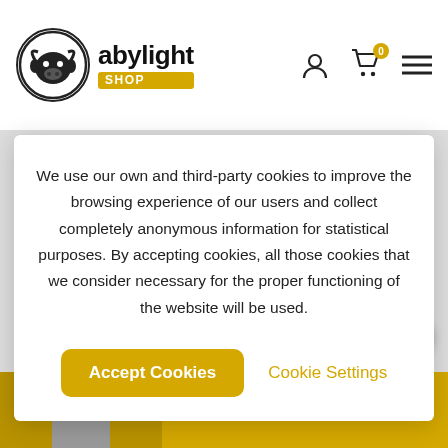[Figure (logo): Abylight Shop logo with circular bull icon and yellow SHOP badge]
We use our own and third-party cookies to improve the browsing experience of our users and collect completely anonymous information for statistical purposes. By accepting cookies, all those cookies that we consider necessary for the proper functioning of the website will be used.
Accept Cookies
Cookie Settings
Add to Cart